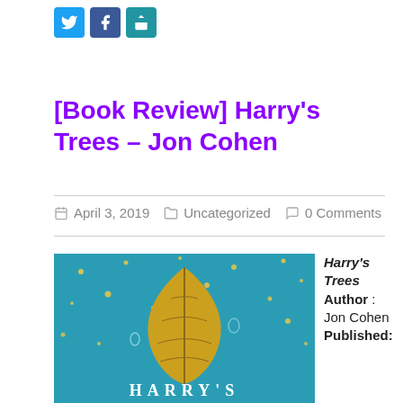[Figure (other): Social media share icons: Twitter (blue bird), Facebook (blue f), Share (teal plus/share icon)]
[Book Review] Harry's Trees – Jon Cohen
April 3, 2019   Uncategorized   0 Comments
[Figure (photo): Book cover of Harry's Trees showing a golden leaf against a teal/blue textured background with small dot lights, text 'HARRY'S' visible at bottom]
Harry's Trees Author: Jon Cohen Published: